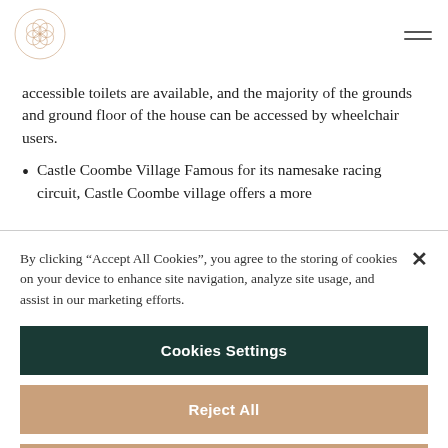[Logo] [Navigation hamburger menu]
accessible toilets are available, and the majority of the grounds and ground floor of the house can be accessed by wheelchair users.
Castle Coombe Village Famous for its namesake racing circuit, Castle Coombe village offers a more
By clicking “Accept All Cookies”, you agree to the storing of cookies on your device to enhance site navigation, analyze site usage, and assist in our marketing efforts.
Cookies Settings
Reject All
Accept All Cookies